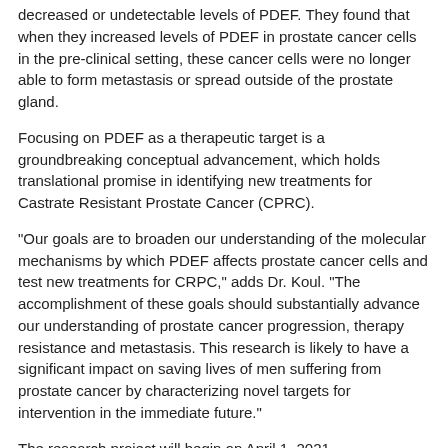decreased or undetectable levels of PDEF. They found that when they increased levels of PDEF in prostate cancer cells in the pre-clinical setting, these cancer cells were no longer able to form metastasis or spread outside of the prostate gland.
Focusing on PDEF as a therapeutic target is a groundbreaking conceptual advancement, which holds translational promise in identifying new treatments for Castrate Resistant Prostate Cancer (CPRC).
"Our goals are to broaden our understanding of the molecular mechanisms by which PDEF affects prostate cancer cells and test new treatments for CRPC," adds Dr. Koul. "The accomplishment of these goals should substantially advance our understanding of prostate cancer progression, therapy resistance and metastasis. This research is likely to have a significant impact on saving lives of men suffering from prostate cancer by characterizing novel targets for intervention in the immediate future."
The research project will begin on April 1, 2021.